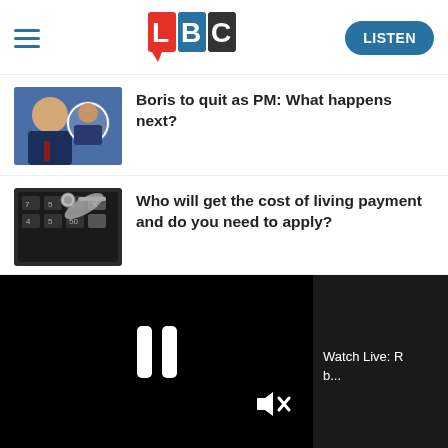LBC — LISTEN
Boris to quit as PM: What happens next?
Who will get the cost of living payment and do you need to apply?
[Figure (screenshot): Video player overlay showing pause icon and mute icon on black background with progress bar, and side panel showing 'Watch Live: b...']